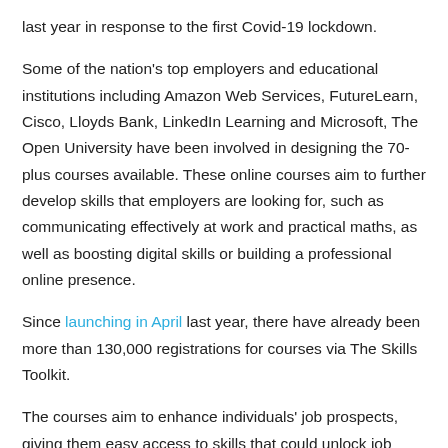last year in response to the first Covid-19 lockdown.
Some of the nation’s top employers and educational institutions including Amazon Web Services, FutureLearn, Cisco, Lloyds Bank, LinkedIn Learning and Microsoft, The Open University have been involved in designing the 70-plus courses available. These online courses aim to further develop skills that employers are looking for, such as communicating effectively at work and practical maths, as well as boosting digital skills or building a professional online presence.
Since launching in April last year, there have already been more than 130,000 registrations for courses via The Skills Toolkit.
The courses aim to enhance individuals’ job prospects, giving them easy access to skills that could unlock job opportunities in a competitive market, or help them get ahead in their current role.